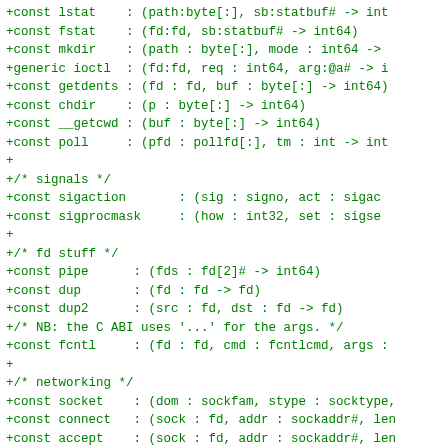+const lstat    : (path:byte[:], sb:statbuf# -> int
+const fstat    : (fd:fd, sb:statbuf# -> int64)
+const mkdir    : (path : byte[:], mode : int64 ->
+generic ioctl  : (fd:fd, req : int64, arg:@a# -> i
+const getdents : (fd : fd, buf : byte[:] -> int64)
+const chdir    : (p : byte[:] -> int64)
+const __getcwd : (buf : byte[:] -> int64)
+const poll     : (pfd : pollfd[:], tm : int -> int
+
+/* signals */
+const sigaction       : (sig : signo, act : sigac
+const sigprocmask     : (how : int32, set : sigse
+
+/* fd stuff */
+const pipe      : (fds : fd[2]# -> int64)
+const dup       : (fd : fd -> fd)
+const dup2      : (src : fd, dst : fd -> fd)
+/* NB: the C ABI uses '...' for the args. */
+const fcntl     : (fd : fd, cmd : fcntlcmd, args :
+
+/* networking */
+const socket    : (dom : sockfam, stype : socktype,
+const connect   : (sock : fd, addr : sockaddr#, len
+const accept    : (sock : fd, addr : sockaddr#, len
+const listen    : (sock : fd, backlog : int    ->
+const bind      : (sock : fd, addr : sockaddr#, len
+const setsockopt       : (sock : fd, lev : sockpro
+const getsockopt       : (sock : fd, lev : sockpro
+
+/* memory mapping */
+const myrmap   : (addr:byte#, len:size : int64)